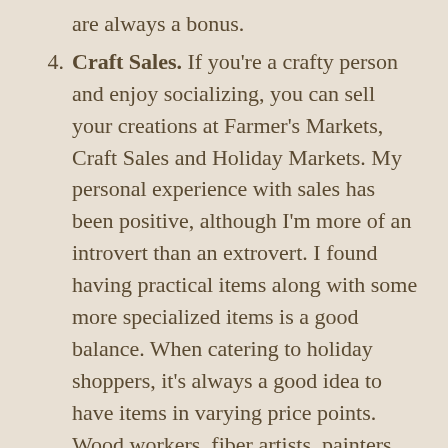are always a bonus.
4. Craft Sales. If you're a crafty person and enjoy socializing, you can sell your creations at Farmer's Markets, Craft Sales and Holiday Markets. My personal experience with sales has been positive, although I'm more of an introvert than an extrovert. I found having practical items along with some more specialized items is a good balance. When catering to holiday shoppers, it's always a good idea to have items in varying price points. Wood workers, fiber artists, painters, jewelry makers, quilters, etc are always welcome at holiday markets.
5. Pattern Design. I enjoy designing crochet patterns for practical items. If you click on